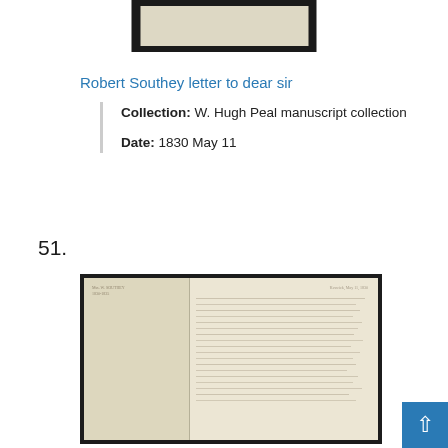[Figure (photo): Top portion of a framed manuscript document with dark border, partially visible at top of page]
Robert Southey letter to dear sir
Collection: W. Hugh Peal manuscript collection
Date: 1830 May 11
51.
[Figure (photo): Framed manuscript letter with dark border showing handwritten text in two panels — left panel mostly blank/folded, right panel with dense cursive handwriting]